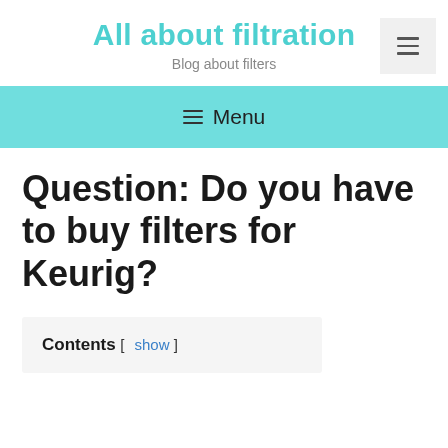All about filtration
Blog about filters
≡ Menu
Question: Do you have to buy filters for Keurig?
Contents [ show ]